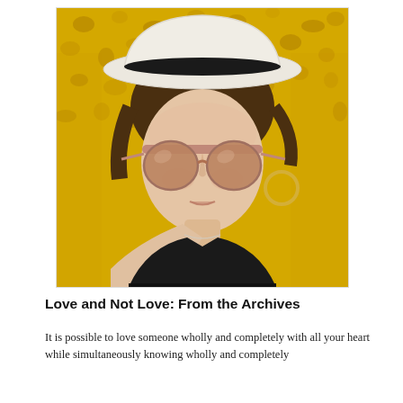[Figure (photo): A woman wearing a white hat with black band and large rose-gold tinted sunglasses, standing against a bright yellow textured wall. She wears a black sleeveless top and layered silver necklaces with gold hoop earrings.]
Love and Not Love: From the Archives
It is possible to love someone wholly and completely with all your heart while simultaneously knowing wholly and completely